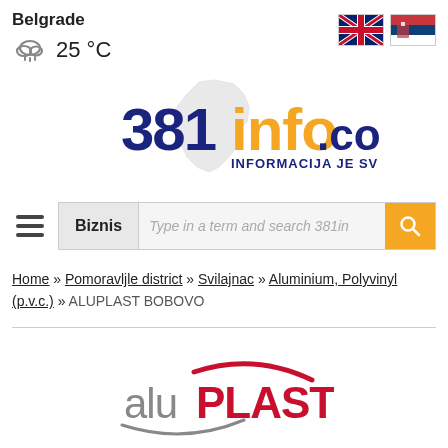Belgrade
25 °C
[Figure (logo): 381info.com logo with Serbia map outline, text: 381info.com INFORMACIJA JE SVE!]
[Figure (illustration): UK flag and Serbian flag icons]
Biznis | Type in a term and search 381in
Home » Pomoravljle district » Svilajnac » Aluminium, Polyvinyl (p.v.c.) » ALUPLAST BOBOVO
[Figure (logo): ALUPLAST company logo]